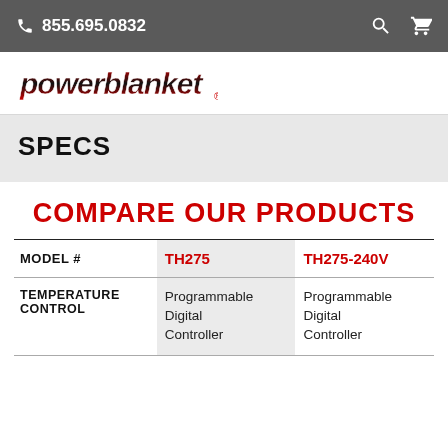855.695.0832
[Figure (logo): Powerblanket logo in red/black italic lettering]
SPECS
COMPARE OUR PRODUCTS
| MODEL # | TH275 | TH275-240V |
| --- | --- | --- |
| TEMPERATURE CONTROL | Programmable Digital Controller | Programmable Digital Controller |